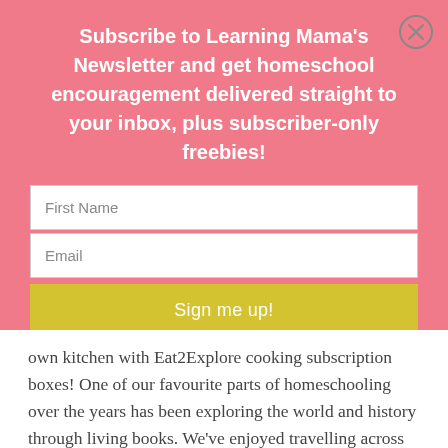Subscribe to Learning Mama's Newsletter and get homeschool encouragement delivered straight to your inbox, plus subscriber-only freebies!
[Figure (other): Close (X) button circle icon in top right of modal]
First Name
Email
Sign me up!
own kitchen with Eat2Explore cooking subscription boxes! One of our favourite parts of homeschooling over the years has been exploring the world and history through living books. We've enjoyed travelling across the globe and...